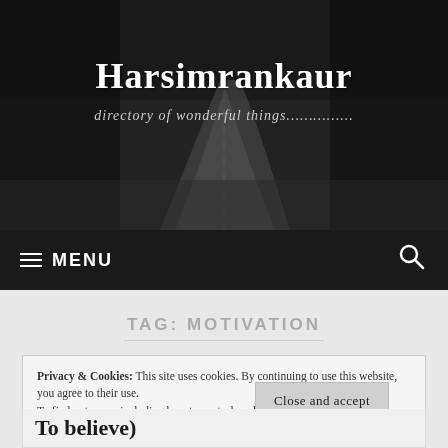Harsimrankaur
directory of wonderful things…………..
MENU
TAG: MOTIVATION
Privacy & Cookies: This site uses cookies. By continuing to use this website, you agree to their use.
To find out more, including how to control cookies, see here: Cookie Policy
Close and accept